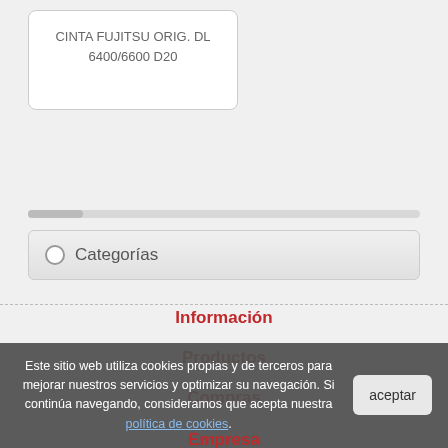CINTA FUJITSU ORIG. DL 6400/6600 D20
Categorías
Información
Productos
Compras
Empresa
Este sitio web utiliza cookies propias y de terceros para mejorar nuestros servicios y optimizar su navegación. Si continúa navegando, consideramos que acepta nuestra política de cookies.